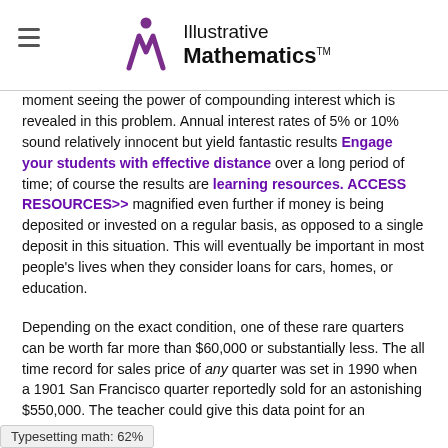Illustrative Mathematics
moment seeing the power of compounding interest which is revealed in this problem. Annual interest rates of 5% or 10% sound relatively innocent but yield fantastic results over a long period of time; of course the results are magnified even further if money is being deposited or invested on a regular basis, as opposed to a single deposit in this situation. This will eventually be important in most people's lives when they consider loans for cars, homes, or education.
Depending on the exact condition, one of these rare quarters can be worth far more than $60,000 or substantially less. The all time record for sales price of any quarter was set in 1990 when a 1901 San Francisco quarter reportedly sold for an astonishing $550,000. The teacher could give this data point for an additional calculation to see if the annual rate of return for this coin exceeds 15%. Since this task was written, a new record was set in November, 2013 by an
Typesetting math: 62%